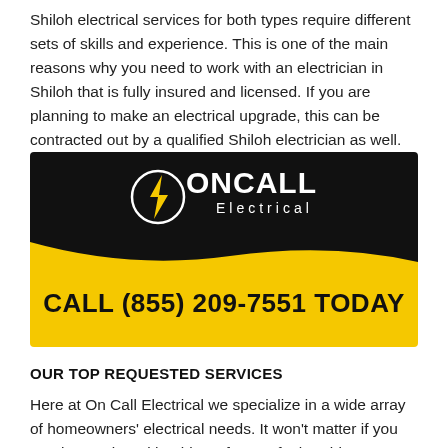Shiloh electrical services for both types require different sets of skills and experience. This is one of the main reasons why you need to work with an electrician in Shiloh that is fully insured and licensed. If you are planning to make an electrical upgrade, this can be contracted out by a qualified Shiloh electrician as well.
[Figure (logo): On Call Electrical banner with logo on black background on top and yellow background with bold text 'CALL (855) 209-7551 TODAY' on bottom.]
OUR TOP REQUESTED SERVICES
Here at On Call Electrical we specialize in a wide array of homeowners' electrical needs. It won't matter if you require service with a blown fuse or faulty wiring, On Call Electrical has